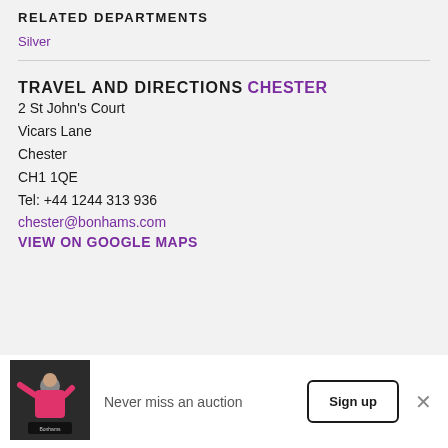RELATED DEPARTMENTS
Silver
TRAVEL AND DIRECTIONS
CHESTER
2 St John's Court
Vicars Lane
Chester
CH1 1QE
Tel: +44 1244 313 936
chester@bonhams.com
VIEW ON GOOGLE MAPS
[Figure (photo): Auctioneer in pink jacket at podium with Bonhams branding]
Never miss an auction
Sign up